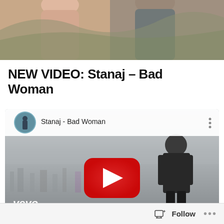[Figure (photo): Top portion of a photo showing two people in jackets outdoors, partially cropped]
NEW VIDEO: Stanaj – Bad Woman
[Figure (screenshot): YouTube embedded video player showing Stanaj - Bad Woman music video with a man standing overlooking a city, vevo branding at the bottom left, red play button in center]
Follow